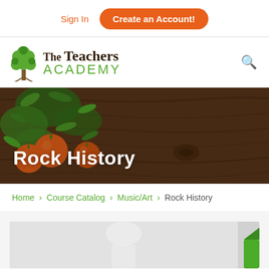Sign In | Create an Account!
[Figure (logo): The Teachers Academy logo with tree icon]
[Figure (photo): Hero banner with oranges/tangerines on a wooden table background, with text 'Rock History' overlaid in white]
Home > Course Catalog > Music/Art > Rock History
[Figure (photo): Partial course image visible at the bottom of the page]